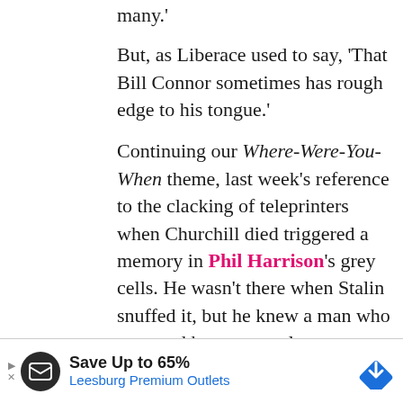many.'
But, as Liberace used to say, 'That Bill Connor sometimes has rough edge to his tongue.'
Continuing our Where-Were-You-When theme, last week's reference to the clacking of teleprinters when Churchill died triggered a memory in Phil Harrison's grey cells. He wasn't there when Stalin snuffed it, but he knew a man who was, and he, poor soul, was on at the telex in the ABC London ...
And, talking of the great and the good,
Save Up to 65% Leesburg Premium Outlets